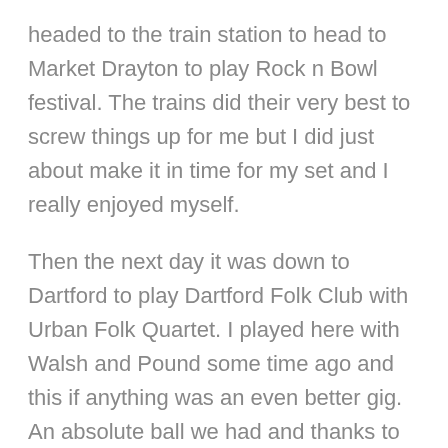headed to the train station to head to Market Drayton to play Rock n Bowl festival. The trains did their very best to screw things up for me but I did just about make it in time for my set and I really enjoyed myself.
Then the next day it was down to Dartford to play Dartford Folk Club with Urban Folk Quartet. I played here with Walsh and Pound some time ago and this if anything was an even better gig. An absolute ball we had and thanks to so many who came quite a long way to see us! And for once, the M25 didn't ruin my life which is always nice. It's still a revolting road though. And finally, after a welcome few days at home to relax we headed to Reading for the last gig of the tour and what a way to finish it was. South